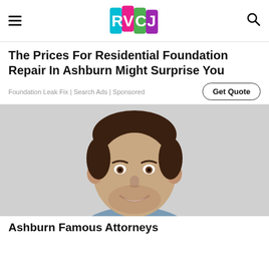RVCJ
The Prices For Residential Foundation Repair In Ashburn Might Surprise You
Foundation Leak Fix | Search Ads | Sponsored
Get Quote
[Figure (photo): Headshot of a smiling young man with dark hair and beard against a light gray background]
Ashburn Famous Attorneys